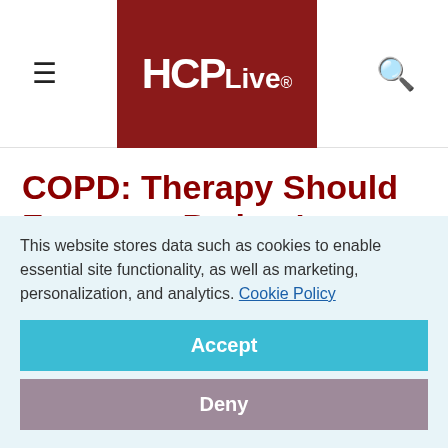HCPLive®
COPD: Therapy Should Focus on Patient's Quality of Life
February 22, 2016
This website stores data such as cookies to enable essential site functionality, as well as marketing, personalization, and analytics. Cookie Policy
Accept
Deny